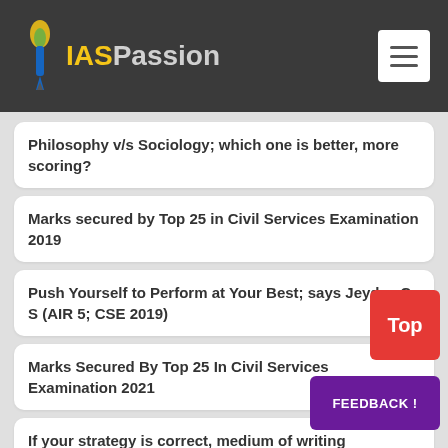IASPassion
Philosophy v/s Sociology; which one is better, more scoring?
Marks secured by Top 25 in Civil Services Examination 2019
Push Yourself to Perform at Your Best; says Jeydev C S (AIR 5; CSE 2019)
Marks Secured By Top 25 In Civil Services Examination 2021
If your strategy is correct, medium of writing examination does not matter; says Priyanka (AIR 20, CSE 2012) Success with Hindi